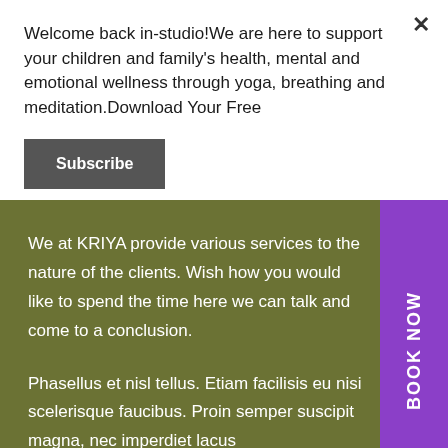Welcome back in-studio!We are here to support your children and family's health, mental and emotional wellness through yoga, breathing and meditation.Download Your Free
Subscribe
We at KRIYA provide various services to the nature of the clients. Wish how you would like to spend the time here we can talk and come to a conclusion.
Phasellus et nisl tellus. Etiam facilisis eu nisi scelerisque faucibus. Proin semper suscipit magna, nec imperdiet lacus
BOOK NOW